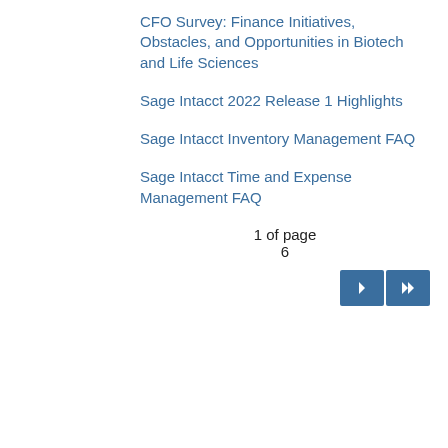CFO Survey: Finance Initiatives, Obstacles, and Opportunities in Biotech and Life Sciences
Sage Intacct 2022 Release 1 Highlights
Sage Intacct Inventory Management FAQ
Sage Intacct Time and Expense Management FAQ
1 of page 6